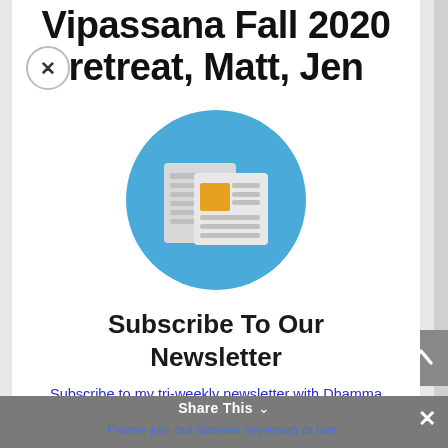Vipassana Fall 2020 retreat, Matt, Jen
[Figure (illustration): Newsletter subscription icon: newspaper/document icon with orange square accent on a blue circle background]
Subscribe To Our Newsletter
Subscribe to my tri-weekly newsletter with Dhamma Class topics, class and retreat schedule, and updates on new Dhamma articles and audio and video recordings.
Please join our classes in-person or live-